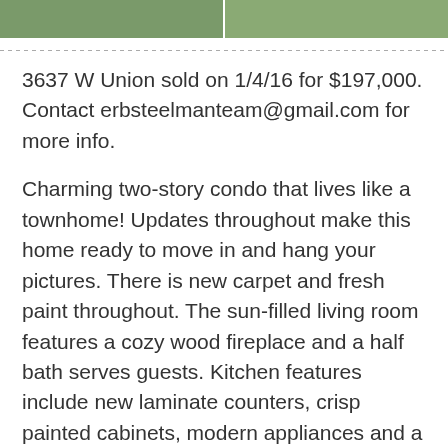[Figure (photo): Two outdoor photos side by side showing green grass/yard, cropped at top of page]
3637 W Union sold on 1/4/16 for $197,000. Contact erbsteelmanteam@gmail.com for more info.
Charming two-story condo that lives like a townhome! Updates throughout make this home ready to move in and hang your pictures. There is new carpet and fresh paint throughout. The sun-filled living room features a cozy wood fireplace and a half bath serves guests. Kitchen features include new laminate counters, crisp painted cabinets, modern appliances and a handy pantry. A peninsula provides additional counter space and space to sit and chat with the cook. The adjoining